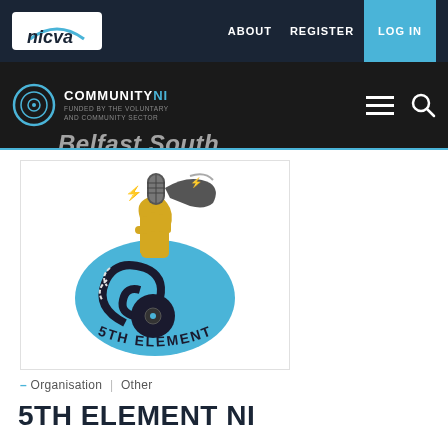nicva | ABOUT  REGISTER  LOG IN
[Figure (logo): 5th Element NI logo - a stylized number 5 incorporating a fist holding a microphone with lightning bolt details, in blue and yellow/gold colors, with text '5TH ELEMENT NI' around the base]
– Organisation | Other
5TH ELEMENT NI